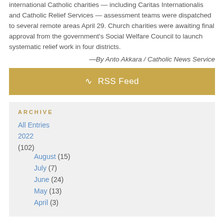international Catholic charities — including Caritas Internationalis and Catholic Relief Services — assessment teams were dispatched to several remote areas April 29. Church charities were awaiting final approval from the government's Social Welfare Council to launch systematic relief work in four districts.
—By Anto Akkara / Catholic News Service
RSS Feed
ARCHIVE
All Entries
2022 (102)
August (15)
July (7)
June (24)
May (13)
April (3)